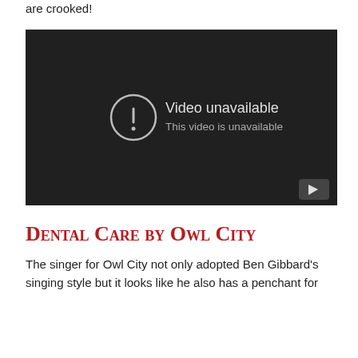are crooked!
[Figure (screenshot): Embedded YouTube video player showing 'Video unavailable – This video is unavailable' error message with an exclamation mark icon and a YouTube play button in the bottom right corner.]
Dental Care by Owl City
The singer for Owl City not only adopted Ben Gibbard's singing style but it looks like he also has a penchant for